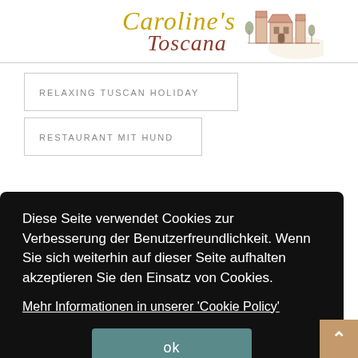[Figure (logo): Caroline's Toscana logo with cursive text in gold and dark red, and a sketch of a Tuscan building/landscape to the right]
RELAXING TUSCAN HOLIDAY
RESTAURANT MIT HUND
Diese Seite verwendet Cookies zur Verbesserung der Benutzerfreundlichkeit. Wenn Sie sich weiterhin auf dieser Seite aufhalten akzeptieren Sie den Einsatz von Cookies.
Mehr Informationen in unserer 'Cookie Policy'
ok
SAN MINIATO
SOMMER IN DER TOSKANA